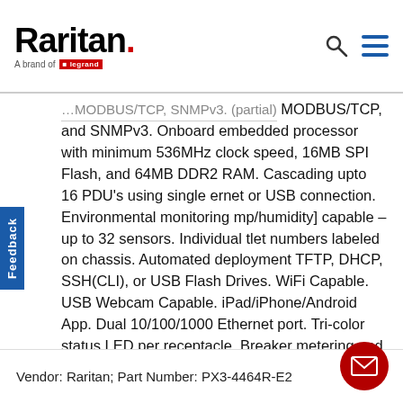Raritan — A brand of Legrand
MODBUS/TCP, and SNMPv3. Onboard embedded processor with minimum 536MHz clock speed, 16MB SPI Flash, and 64MB DDR2 RAM. Cascading upto 16 PDU's using single ethernet or USB connection. Environmental monitoring (temp/humidity) capable – up to 32 sensors. Individual outlet numbers labeled on chassis. Automated deployment TFTP, DHCP, SSH(CLI), or USB Flash Drives. WiFi Capable. USB Webcam Capable. iPad/iPhone/Android App. Dual 10/100/1000 Ethernet port. Tri-color status LED per receptacle. Breaker metering and alarming (0V detection). Max Dimensions 440mm x 293mm x 88mm (17.3in x 11.5in x 3.5in). Max Weight 7 kg. Maximum ambient temperature 60C at full load.
Vendor: Raritan; Part Number: PX3-4464R-E2